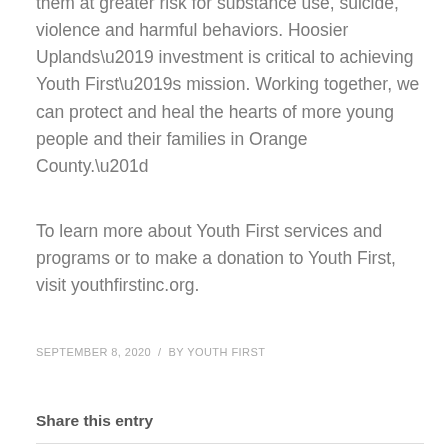them at greater risk for substance use, suicide, violence and harmful behaviors. Hoosier Uplands’ investment is critical to achieving Youth First’s mission. Working together, we can protect and heal the hearts of more young people and their families in Orange County.”
To learn more about Youth First services and programs or to make a donation to Youth First, visit youthfirstinc.org.
SEPTEMBER 8, 2020  /  BY YOUTH FIRST
Share this entry